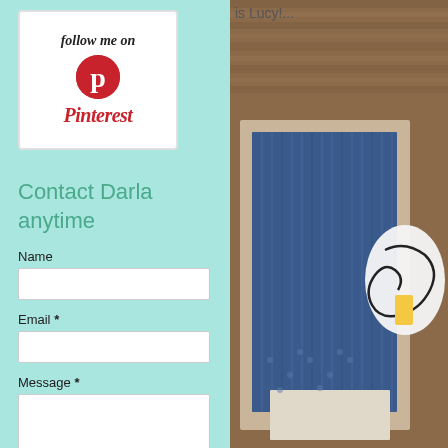[Figure (illustration): Pinterest 'follow me on Pinterest' badge with white background, red circle with P logo, and Pinterest script text in red]
Contact Darla anytime
Name
Email *
Message *
[Figure (photo): Close-up photo of a handmade greeting card with blue striped patterned paper on a wooden background, partially visible decorative flourish sticker]